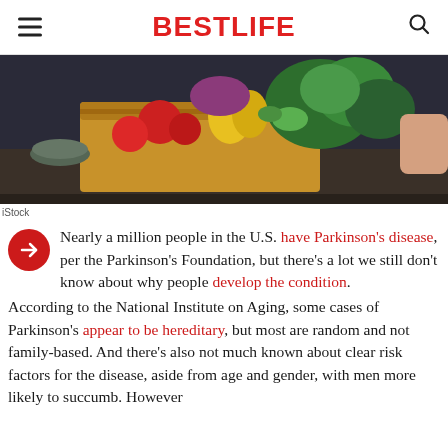BESTLIFE
[Figure (photo): Person holding a cardboard box full of fresh vegetables including tomatoes, yellow peppers, broccoli, and other produce on a dark kitchen counter.]
iStock
Nearly a million people in the U.S. have Parkinson's disease, per the Parkinson's Foundation, but there's a lot we still don't know about why people develop the condition. According to the National Institute on Aging, some cases of Parkinson's appear to be hereditary, but most are random and not family-based. And there's also not much known about clear risk factors for the disease, aside from age and gender, with men more likely to succumb. However